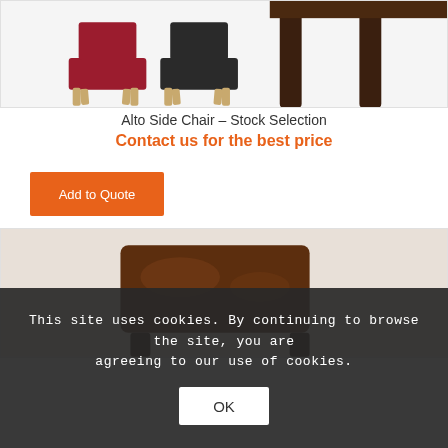[Figure (photo): Product photo showing two dining chairs (one red upholstered, one black upholstered) with light wood legs on the left, and close-up of dark chair legs on the right. White background.]
Alto Side Chair – Stock Selection
Contact us for the best price
Add to Quote
[Figure (photo): Close-up photo of a dark wood/leather chair back, bottom portion of a product listing.]
This site uses cookies. By continuing to browse the site, you are agreeing to our use of cookies.
OK